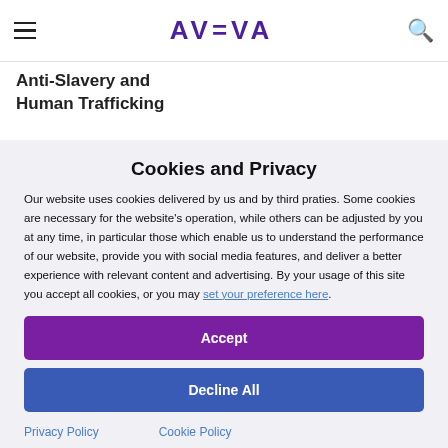AVEVA
Anti-Slavery and Human Trafficking
Cookies and Privacy
Our website uses cookies delivered by us and by third praties. Some cookies are necessary for the website's operation, while others can be adjusted by you at any time, in particular those which enable us to understand the performance of our website, provide you with social media features, and deliver a better experience with relevant content and advertising. By your usage of this site you accept all cookies, or you may set your preference here.
Accept
Decline All
Privacy Policy
Cookie Policy